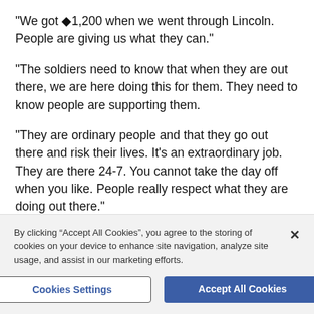"We got ◆1,200 when we went through Lincoln. People are giving us what they can."
"The soldiers need to know that when they are out there, we are here doing this for them. They need to know people are supporting them.
"They are ordinary people and that they go out there and risk their lives. It's an extraordinary job. They are there 24-7. You cannot take the day off when you like. People really respect what they are doing out there."
"It is about making sure that people are aware of it and
By clicking “Accept All Cookies”, you agree to the storing of cookies on your device to enhance site navigation, analyze site usage, and assist in our marketing efforts.
Cookies Settings
Accept All Cookies